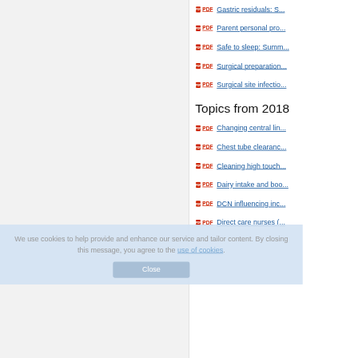PDF  Gastric residuals: S...
PDF  Parent personal pro...
PDF  Safe to sleep: Summ...
PDF  Surgical preparation...
PDF  Surgical site infectio...
Topics from 2018
PDF  Changing central lin...
PDF  Chest tube clearanc...
PDF  Cleaning high touch...
PDF  Dairy intake and boo...
PDF  DCN influencing inc...
PDF  Direct care nurses (...
We use cookies to help provide and enhance our service and tailor content. By closing this message, you agree to the use of cookies.
Close